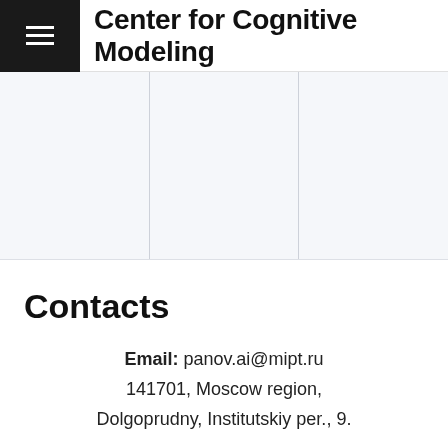Center for Cognitive Modeling
[Figure (other): Navigation menu area with three column separators on a light grey background]
Contacts
Email: panov.ai@mipt.ru
141701, Moscow region,
Dolgoprudny, Institutskiy per., 9.